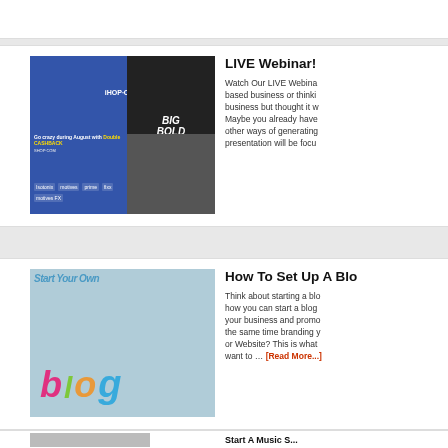[Figure (screenshot): Screenshot of iHOP.com and a cosmetics/beauty website with Big Bold Lashes advertisement and various brand logos including Isotonix, motives, prime, fixx]
LIVE Webinar!
Watch Our LIVE Webinar! based business or thinking business but thought it w Maybe you already have other ways of generating presentation will be focu
[Figure (illustration): 3D colorful word 'blog' with letters in pink, green, orange, and blue on a light blue background with text 'Start Your Own' at top]
How To Set Up A Blo
Think about starting a blog how you can start a blog your business and promo the same time branding y or Website? This is what want to … [Read More...]